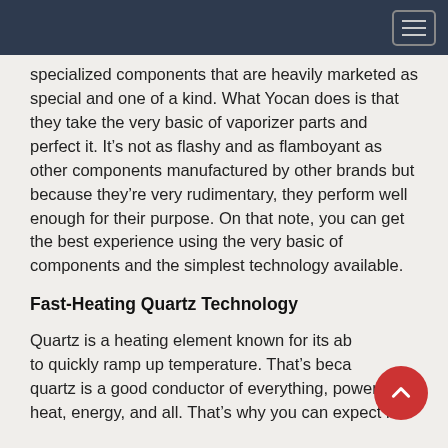specialized components that are heavily marketed as special and one of a kind. What Yocan does is that they take the very basic of vaporizer parts and perfect it. It's not as flashy and as flamboyant as other components manufactured by other brands but because they're very rudimentary, they perform well enough for their purpose. On that note, you can get the best experience using the very basic of components and the simplest technology available.
Fast-Heating Quartz Technology
Quartz is a heating element known for its ability to quickly ramp up temperature. That's because quartz is a good conductor of everything, power, heat, energy, and all. That's why you can expect it